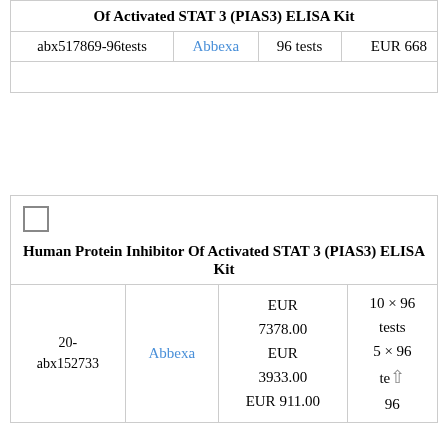| Product | Supplier | Quantity | Price |
| --- | --- | --- | --- |
| Of Activated STAT 3 (PIAS3) ELISA Kit |  |  |  |
| abx517869-96tests | Abbexa | 96 tests | EUR 668 |
|  | Ref | Supplier | Price | Quantity |
| --- | --- | --- | --- | --- |
| Human Protein Inhibitor Of Activated STAT 3 (PIAS3) ELISA Kit |  |  |  |  |
|  | 20-abx152733 | Abbexa | EUR 7378.00
EUR 3933.00
EUR 911.00 | 10 × 96 tests
5 × 96 tests
96 |